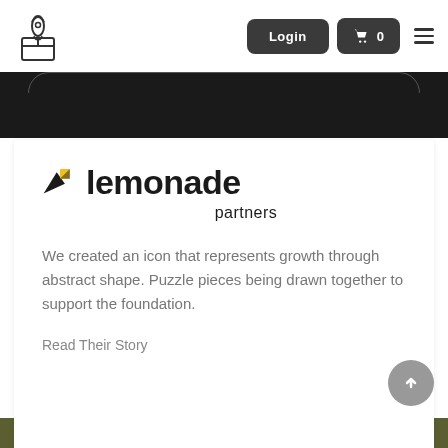Login | Cart 0
[Figure (logo): Lemonade Partners logo with abstract puzzle-piece icon in black and yellow]
We created an icon that represents growth through abstract shape. Puzzle pieces being drawn together to support the foundation.
Read Their Story